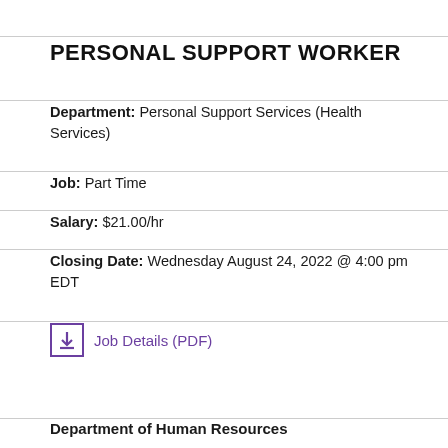PERSONAL SUPPORT WORKER
Department: Personal Support Services (Health Services)
Job: Part Time
Salary: $21.00/hr
Closing Date: Wednesday August 24, 2022 @ 4:00 pm EDT
Job Details (PDF)
Department of Human Resources